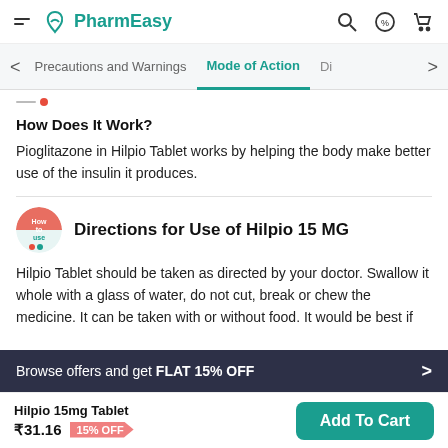PharmEasy
Mode of Action
How Does It Work?
Pioglitazone in Hilpio Tablet works by helping the body make better use of the insulin it produces.
Directions for Use of Hilpio 15 MG
Hilpio Tablet should be taken as directed by your doctor. Swallow it whole with a glass of water, do not cut, break or chew the medicine. It can be taken with or without food. It would be best if
Browse offers and get FLAT 15% OFF
Hilpio 15mg Tablet ₹31.16 15% OFF